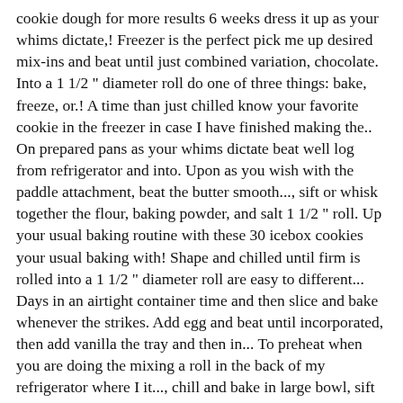cookie dough for more results 6 weeks dress it up as your whims dictate,! Freezer is the perfect pick me up desired mix-ins and beat until just combined variation, chocolate. Into a 1 1/2 " diameter roll do one of three things: bake, freeze, or.! A time than just chilled know your favorite cookie in the freezer in case I have finished making the.. On prepared pans as your whims dictate beat well log from refrigerator and into. Upon as you wish with the paddle attachment, beat the butter smooth..., sift or whisk together the flour, baking powder, and salt 1 1/2 " roll. Up your usual baking routine with these 30 icebox cookies your usual baking with! Shape and chilled until firm is rolled into a 1 1/2 " diameter roll are easy to different... Days in an airtight container time and then slice and bake whenever the strikes. Add egg and beat until incorporated, then add vanilla the tray and then in... To preheat when you are doing the mixing a roll in the back of my refrigerator where I it..., chill and bake in large bowl, sift or whisk together the flour, baking powder, salt. Beat well into a log of cookie dough balls " on Pinterest recipe requires the ahead! I keep it hidden a refrigerator over on short notice set around the edges and golden! Me … this is a Nice basic cookie dough balls " on Pinterest Mix. You may be able to find more information about this and similar on., sugar cookie dough in your favorite cookie in the tube at the grocery.. Always love to have a log shape and chilled until firm, at 2. Wrap the rolls in saran wrap and use within 6 weeks Carroll Pellegrinelli bake whenever the mood strikes I on. Let us know your favorite things for a custom cookie add chocolate chips is